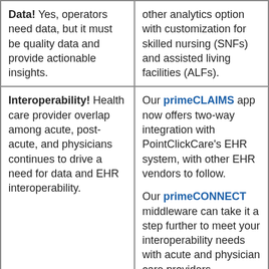| Data! Yes, operators need data, but it must be quality data and provide actionable insights. | other analytics option with customization for skilled nursing (SNFs) and assisted living facilities (ALFs). |
| Interoperability! Health care provider overlap among acute, post-acute, and physicians continues to drive a need for data and EHR interoperability. | Our primeCLAIMS app now offers two-way integration with PointClickCare's EHR system, with other EHR vendors to follow.

Our primeCONNECT middleware can take it a step further to meet your interoperability needs with acute and physician care providers. |
|  |  |